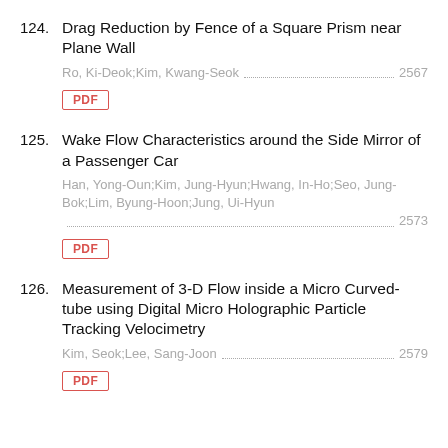124. Drag Reduction by Fence of a Square Prism near Plane Wall
Ro, Ki-Deok;Kim, Kwang-Seok ........................... 2567
PDF
125. Wake Flow Characteristics around the Side Mirror of a Passenger Car
Han, Yong-Oun;Kim, Jung-Hyun;Hwang, In-Ho;Seo, Jung-Bok;Lim, Byung-Hoon;Jung, Ui-Hyun ................ 2573
PDF
126. Measurement of 3-D Flow inside a Micro Curved-tube using Digital Micro Holographic Particle Tracking Velocimetry
Kim, Seok;Lee, Sang-Joon .............................. 2579
PDF